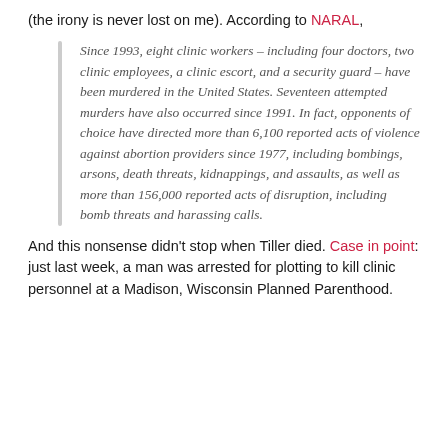(the irony is never lost on me). According to NARAL,
Since 1993, eight clinic workers – including four doctors, two clinic employees, a clinic escort, and a security guard – have been murdered in the United States. Seventeen attempted murders have also occurred since 1991. In fact, opponents of choice have directed more than 6,100 reported acts of violence against abortion providers since 1977, including bombings, arsons, death threats, kidnappings, and assaults, as well as more than 156,000 reported acts of disruption, including bomb threats and harassing calls.
And this nonsense didn't stop when Tiller died. Case in point: just last week, a man was arrested for plotting to kill clinic personnel at a Madison, Wisconsin Planned Parenthood.